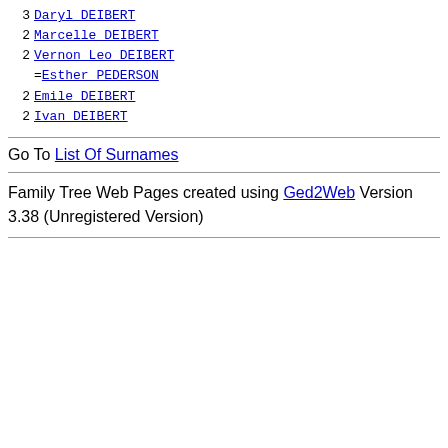3 Daryl DEIBERT
2 Marcelle DEIBERT
2 Vernon Leo DEIBERT =Esther PEDERSON
2 Emile DEIBERT
2 Ivan DEIBERT
Go To List Of Surnames
Family Tree Web Pages created using Ged2Web Version 3.38 (Unregistered Version)